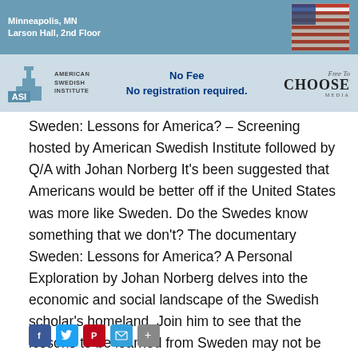[Figure (infographic): Banner with ASI (American Swedish Institute) logo, event location text 'Minneapolis, MN / Larson Hall, 2nd Floor', photo of American flag, 'No Fee / No registration required.' text, and Free To Choose Media logo]
Sweden: Lessons for America? – Screening hosted by American Swedish Institute followed by Q/A with Johan Norberg It's been suggested that Americans would be better off if the United States was more like Sweden. Do the Swedes know something that we don't? The documentary Sweden: Lessons for America? A Personal Exploration by Johan Norberg delves into the economic and social landscape of the Swedish scholar's homeland. Join him to see that the lessons to be learned from Sweden may not be the ones you expect. The one-hour documentary follows Norberg on a journey through the history of Sweden's economic rise, …
[Figure (infographic): Social sharing buttons: Facebook, Twitter, Pinterest, Email, Share]